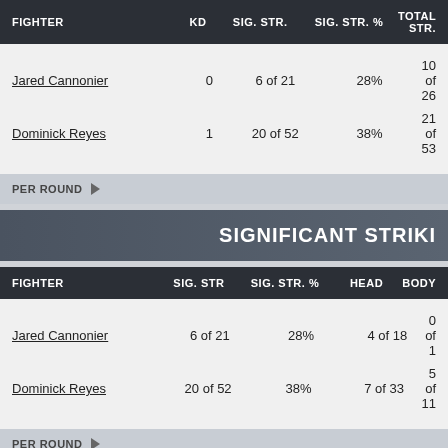| FIGHTER | KD | SIG. STR. | SIG. STR. % | TOTAL STR. |
| --- | --- | --- | --- | --- |
| Jared Cannonier | 0 | 6 of 21 | 28% | 10 of 26 |
| Dominick Reyes | 1 | 20 of 52 | 38% | 21 of 53 |
PER ROUND
SIGNIFICANT STRIKING
| FIGHTER | SIG. STR | SIG. STR. % | HEAD | BODY |
| --- | --- | --- | --- | --- |
| Jared Cannonier | 6 of 21 | 28% | 4 of 18 | 0 of 1 |
| Dominick Reyes | 20 of 52 | 38% | 7 of 33 | 5 of 11 |
PER ROUND
Jared Cannonier
SIGNIFICANT STRIKING